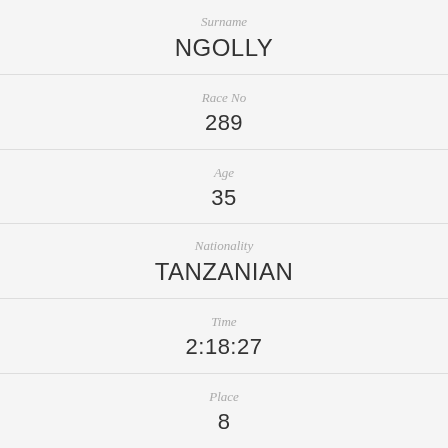Surname: NGOLLY
Race No: 289
Age: 35
Nationality: TANZANIAN
Time: 2:18:27
Place: 8